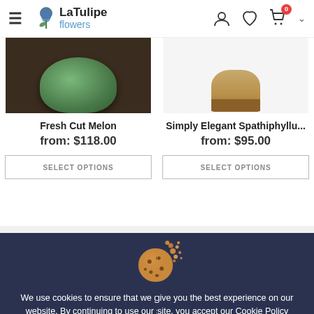La Tulipe flowers — navigation header with hamburger menu, logo, user icon, wishlist icon, cart icon (badge: 0), and dropdown chevron
[Figure (photo): Product image of Fresh Cut Melon — dark wood background with green bowl]
Fresh Cut Melon
from: $118.00
SELECT OPTIONS
[Figure (photo): Product image of Simply Elegant Spathiphyllu... — white background with wicker basket]
Simply Elegant Spathiphyllu...
from: $95.00
SELECT OPTIONS
[Figure (illustration): Cookie icon — chocolate chip cookie with crumbs scattering]
We use cookies to ensure that we give you the best experience on our website. By continuing to use our site, you accept our Cookie Policy Terms.
Privacy Policy
Accept Cookies